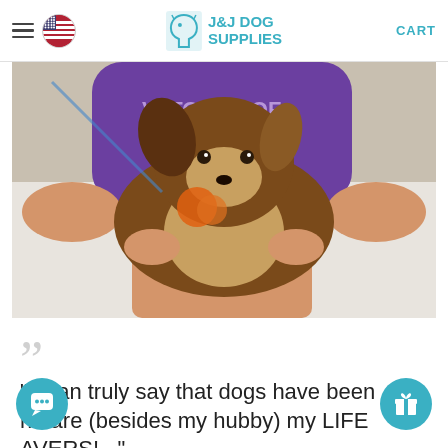J&J DOG SUPPLIES   CART
[Figure (photo): Person in purple t-shirt reading 'ANATOMY OF...' sitting on a white bed, holding a Rough Collie/Shetland Sheepdog. The dog is sitting between the person's legs, facing forward. An orange crocheted toy is visible.]
" I can truly say that dogs have been and are (besides my hubby) my LIFE SAVERS!..."